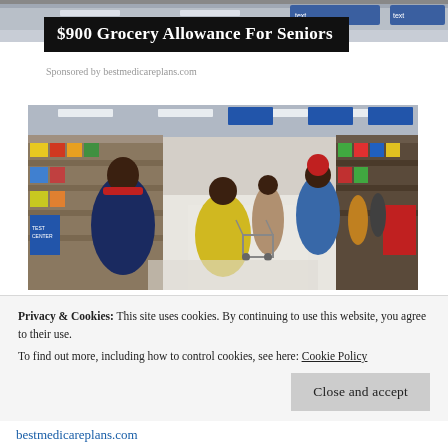[Figure (photo): Top portion of grocery store / advertisement banner image cropped at the top of the page]
$900 Grocery Allowance For Seniors
Sponsored by bestmedicareplans.com
[Figure (photo): Interior of a grocery store (resembling Walmart) with shoppers pushing carts down a wide aisle lined with shelves. Several people visible including women in colorful winter coats and red hats.]
Privacy & Cookies: This site uses cookies. By continuing to use this website, you agree to their use.
To find out more, including how to control cookies, see here: Cookie Policy
Close and accept
bestmedicareplans.com